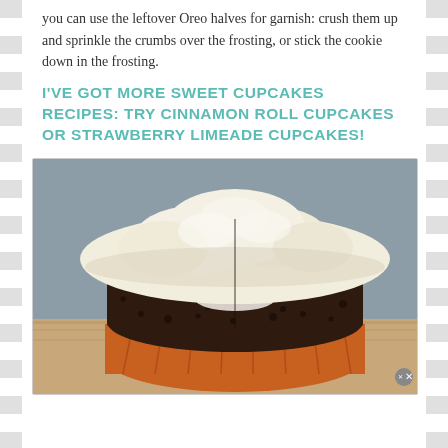you can use the leftover Oreo halves for garnish: crush them up and sprinkle the crumbs over the frosting, or stick the cookie down in the frosting.
I'VE GOT MORE SWEET CUPCAKES RECIPES: TRY CINNAMON ROLL CUPCAKES OR STRAWBERRY LIMEADE CUPCAKES!
[Figure (photo): Close-up photo of a chocolate cupcake cut in half, showing dark moist chocolate cake interior with a large swirl of white cream cheese or vanilla frosting on top, in an orange cupcake liner, on a wooden surface with grey background]